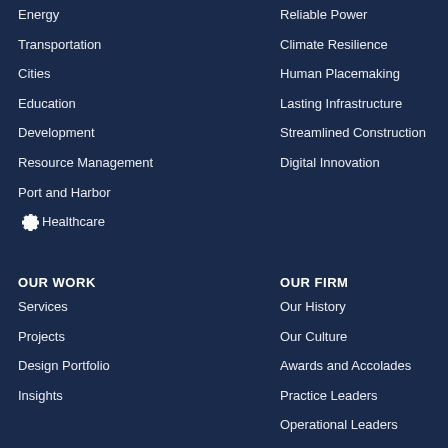Energy
Transportation
Cities
Education
Development
Resource Management
Port and Harbor
Healthcare
Reliable Power
Climate Resilience
Human Placemaking
Lasting Infrastructure
Streamlined Construction
Digital Innovation
OUR WORK
OUR FIRM
Services
Projects
Design Portfolio
Insights
Our History
Our Culture
Awards and Accolades
Practice Leaders
Operational Leaders